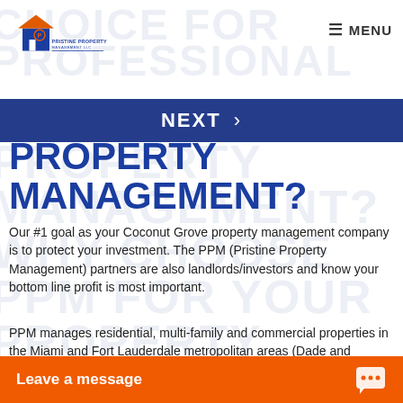[Figure (logo): Pristine Property Management LLC logo with house icon in blue and orange]
MENU
NEXT ›
PROPERTY MANAGEMENT?
Our #1 goal as your Coconut Grove property management company is to protect your investment. The PPM (Pristine Property Management) partners are also landlords/investors and know your bottom line profit is most important.
PPM manages residential, multi-family and commercial properties in the Miami and Fort Lauderdale metropolitan areas (Dade and Broward counties) – representing clients from the US, Europe and Latin America.
Leave a message